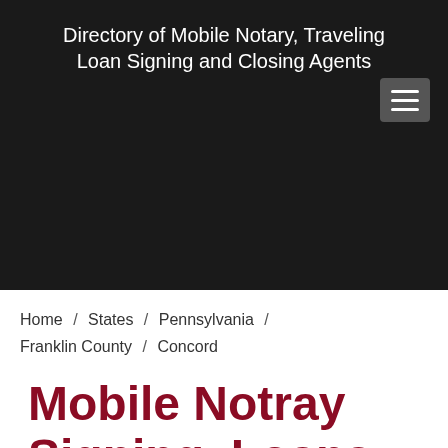Directory of Mobile Notary, Traveling Loan Signing and Closing Agents
Home / States / Pennsylvania / Franklin County / Concord
Mobile Notray Signing, Loans,